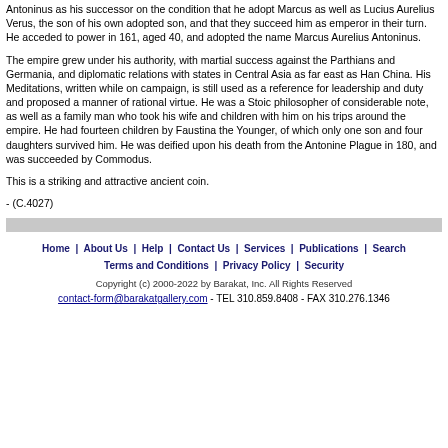Antoninus as his successor on the condition that he adopt Marcus as well as Lucius Aurelius Verus, the son of his own adopted son, and that they succeed him as emperor in their turn. He acceded to power in 161, aged 40, and adopted the name Marcus Aurelius Antoninus.
The empire grew under his authority, with martial success against the Parthians and Germania, and diplomatic relations with states in Central Asia as far east as Han China. His Meditations, written while on campaign, is still used as a reference for leadership and duty and proposed a manner of rational virtue. He was a Stoic philosopher of considerable note, as well as a family man who took his wife and children with him on his trips around the empire. He had fourteen children by Faustina the Younger, of which only one son and four daughters survived him. He was deified upon his death from the Antonine Plague in 180, and was succeeded by Commodus.
This is a striking and attractive ancient coin.
- (C.4027)
Home | About Us | Help | Contact Us | Services | Publications | Search Terms and Conditions | Privacy Policy | Security Copyright (c) 2000-2022 by Barakat, Inc. All Rights Reserved contact-form@barakatgallery.com - TEL 310.859.8408 - FAX 310.276.1346